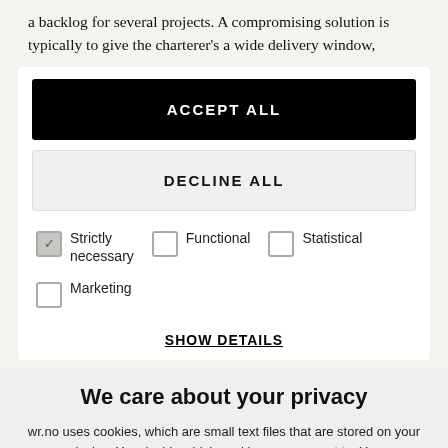a backlog for several projects. A compromising solution is typically to give the charterer's a wide delivery window,
ACCEPT ALL
DECLINE ALL
Strictly necessary (checked)
Functional
Statistical
Marketing
SHOW DETAILS
We care about your privacy
wr.no uses cookies, which are small text files that are stored on your user device. You decide which cookies you consent to. You can change or withdraw your consent at any time by clicking on the wheel in the bottom left corner.